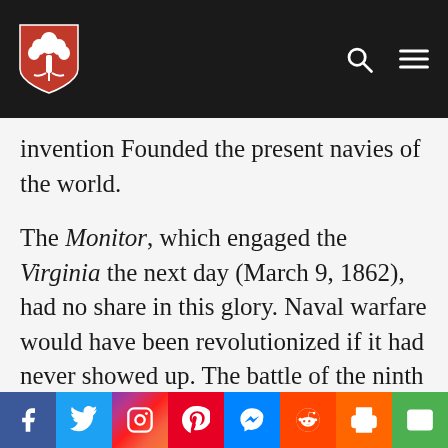invention Founded the present navies of the world.
The Monitor, which engaged the Virginia the next day (March 9, 1862), had no share in this glory. Naval warfare would have been revolutionized if it had never showed up. The battle of the ninth is only interesting as it affords a test of the prowess of the two vessels. The Monitor was driven from the field,